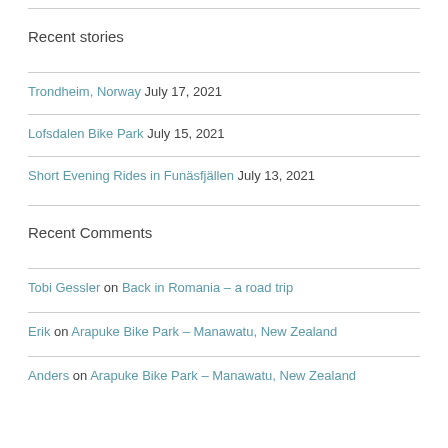Recent stories
Trondheim, Norway July 17, 2021
Lofsdalen Bike Park July 15, 2021
Short Evening Rides in Funäsfjällen July 13, 2021
Recent Comments
Tobi Gessler on Back in Romania – a road trip
Erik on Arapuke Bike Park – Manawatu, New Zealand
Anders on Arapuke Bike Park – Manawatu, New Zealand